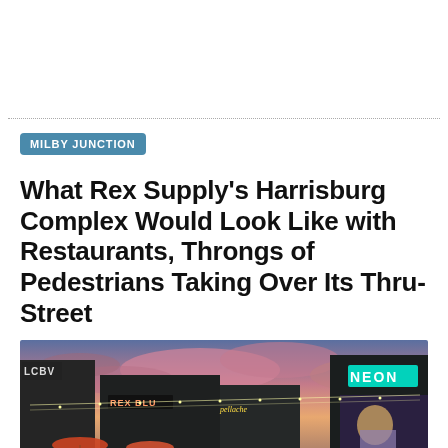MILBY JUNCTION
What Rex Supply's Harrisburg Complex Would Look Like with Restaurants, Throngs of Pedestrians Taking Over Its Thru-Street
[Figure (illustration): Architectural rendering of Rex Supply's Harrisburg Complex showing a pedestrian-filled outdoor retail street with string lights, restaurant signage including 'NEON' and 'REX BLU', colorful umbrellas, and a mural on the right building wall, under a dramatic pink and purple sunset sky.]